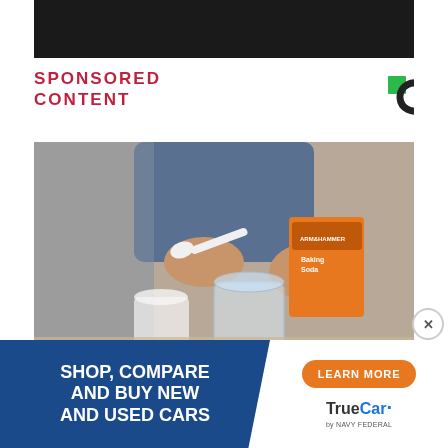[Figure (photo): Dark/black cropped image strip at top of page]
SPONSORED CONTENT
[Figure (logo): Circular logo icon with green and black design]
[Figure (photo): Person holding an Arm & Hammer Pure Baking Soda box and spooning powder into a glass jar]
[Figure (infographic): TrueCar by Navy Federal advertisement banner: SHOP, COMPARE AND BUY NEW AND USED CARS with LEARN MORE button]